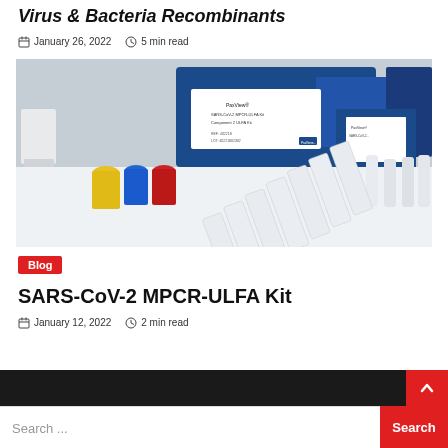Virus & Bacteria Recombinants
January 26, 2022  5 min read
[Figure (photo): Photo of SARS-CoV-2 MPCR-ULFA diagnostic test kit showing labeled tubes and rapid test strips on a white surface, with blue branded packaging and display stand in background]
Blog
SARS-CoV-2 MPCR-ULFA Kit
January 12, 2022  2 min read
Search ...  Search